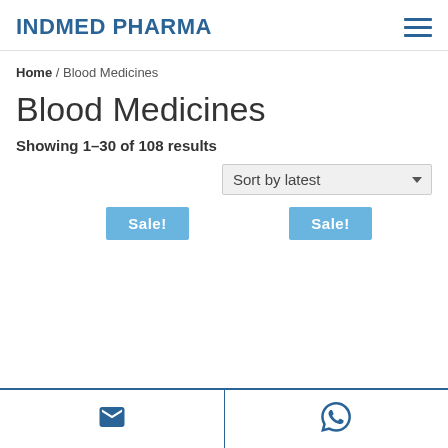INDMED PHARMA
Home / Blood Medicines
Blood Medicines
Showing 1–30 of 108 results
Sort by latest
Sale!
Sale!
Email icon | WhatsApp icon